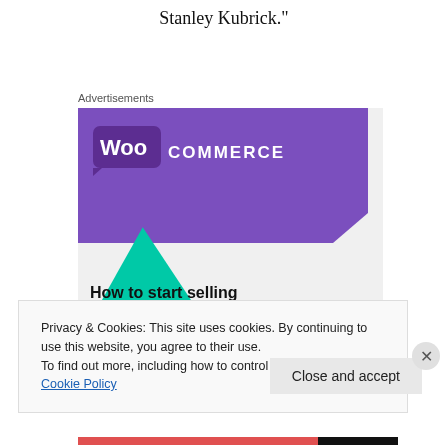Stanley Kubrick."
Advertisements
[Figure (illustration): WooCommerce advertisement banner showing the WooCommerce logo on a purple background with teal and blue decorative shapes, and the text 'How to start selling subscriptions online']
Privacy & Cookies: This site uses cookies. By continuing to use this website, you agree to their use.
To find out more, including how to control cookies, see here: Cookie Policy
Close and accept